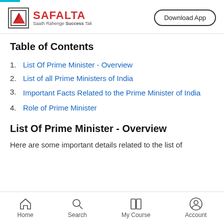SAFALTA — Saath Rahenge Success Tak | Download App
Table of Contents
1. List Of Prime Minister - Overview
2. List of all Prime Ministers of India
3. Important Facts Related to the Prime Minister of India
4. Role of Prime Minister
List Of Prime Minister - Overview
Here are some important details related to the list of
Home  Search  My Course  Account